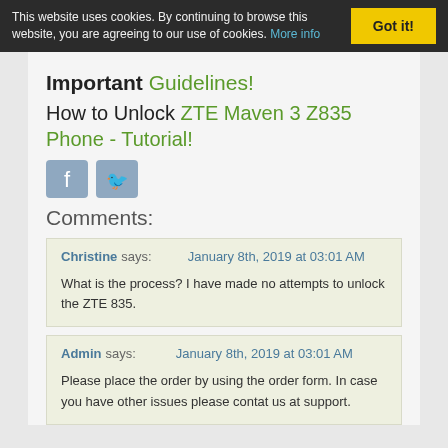This website uses cookies. By continuing to browse this website, you are agreeing to our use of cookies. More info   Got it!
Important Guidelines!
How to Unlock ZTE Maven 3 Z835 Phone - Tutorial!
[Figure (other): Social media sharing icons: Facebook and Twitter buttons]
Comments:
Christine says:   January 8th, 2019 at 03:01 AM

What is the process? I have made no attempts to unlock the ZTE 835.
Admin says:   January 8th, 2019 at 03:01 AM

Please place the order by using the order form. In case you have other issues please contat us at support.